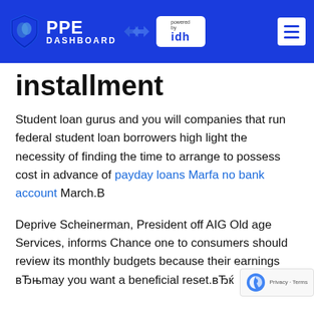PPE DASHBOARD powered by idh
installment
Student loan gurus and you will companies that run federal student loan borrowers high light the necessity of finding the time to arrange to possess cost in advance of payday loans Marfa no bank account March.B
Deprive Scheinerman, President off AIG Old age Services, informs Chance one to consumers should review its monthly budgets because their earnings вЂњmay you want a beneficial reset.вЂќ
вЂњA spouse could have shed a career or quicker